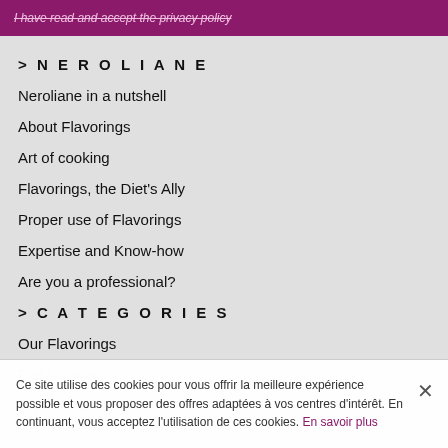I have read and accept the privacy policy
> NEROLIANE
Neroliane in a nutshell
About Flavorings
Art of cooking
Flavorings, the Diet's Ally
Proper use of Flavorings
Expertise and Know-how
Are you a professional?
> CATEGORIES
Our Flavorings
Field Grade
Type of Flavorings
Ce site utilise des cookies pour vous offrir la meilleure expérience possible et vous proposer des offres adaptées à vos centres d'intérêt. En continuant, vous acceptez l'utilisation de ces cookies. En savoir plus